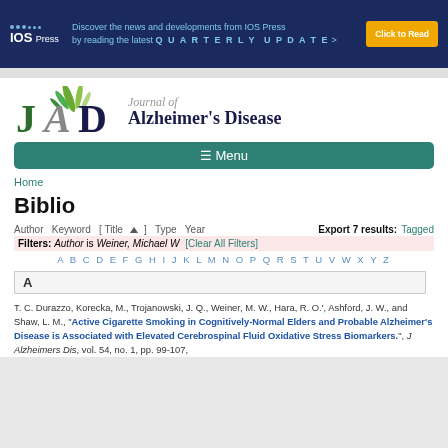[Figure (screenshot): IOS Press banner advertisement: dark blue background with IOS Press logo (dots and text), text about Quarterly Update, and yellow 'Click to Read' button]
[Figure (logo): Journal of Alzheimer's Disease (JAD) logo with green plant imagery and text]
[Figure (screenshot): Green menu bar with hamburger icon and 'Menu' text]
Home
Biblio
Author Keyword [ Title ] Type Year    Export 7 results: Tagged
Filters: Author is Weiner, Michael W  [Clear All Filters]
A B C D E F G H I J K L M N O P Q R S T U V W X Y Z
A
T. C. Durazzo, Korecka, M., Trojanowski, J. Q., Weiner, M. W., Hara, R. O.', Ashford, J. W., and Shaw, L. M., "Active Cigarette Smoking in Cognitively-Normal Elders and Probable Alzheimer's Disease is Associated with Elevated Cerebrospinal Fluid Oxidative Stress Biomarkers.", J Alzheimers Dis, vol. 54, no. 1, pp. 99-107,